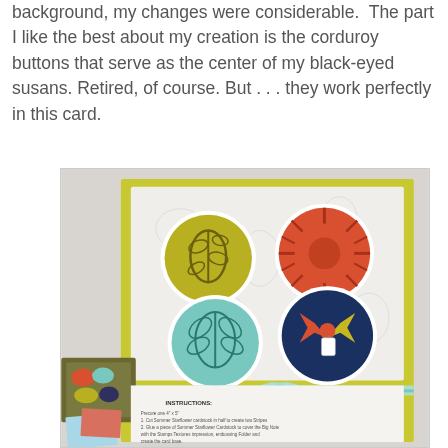background, my changes were considerable. The part I like the best about my creation is the corduroy buttons that serve as the center of my black-eyed susans. Retired, of course. But . . . they work perfectly in this card.
[Figure (photo): A handmade greeting card with a yellow-green (chartreuse) background, featuring four circular embellishments with botanical/floral stamp images in olive green, coral/red, aqua, and navy blue colors. A light blue ribbon is tied around the lower portion of the card. In the foreground are some craft supplies and paper pieces. The card also shows printed instructions text at the bottom.]